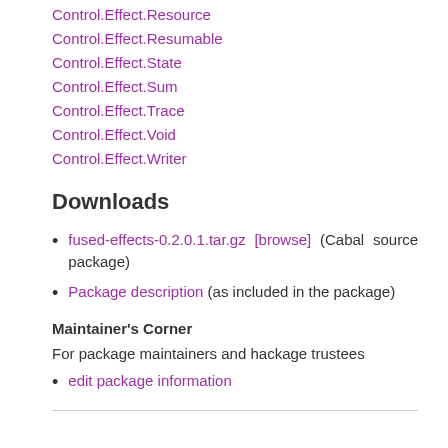Control.Effect.Resource
Control.Effect.Resumable
Control.Effect.State
Control.Effect.Sum
Control.Effect.Trace
Control.Effect.Void
Control.Effect.Writer
Downloads
fused-effects-0.2.0.1.tar.gz [browse] (Cabal source package)
Package description (as included in the package)
Maintainer's Corner
For package maintainers and hackage trustees
edit package information